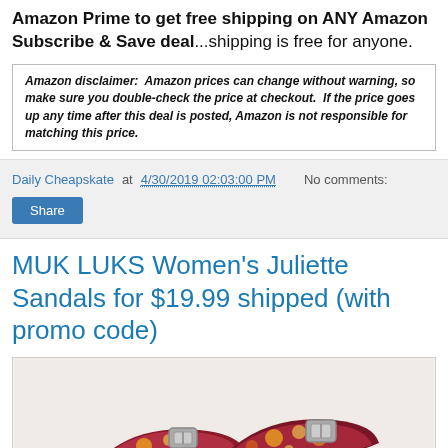Amazon Prime to get free shipping on ANY Amazon Subscribe & Save deal...shipping is free for anyone.
Amazon disclaimer: Amazon prices can change without warning, so make sure you double-check the price at checkout. If the price goes up any time after this deal is posted, Amazon is not responsible for matching this price.
Daily Cheapskate at 4/30/2019 02:03:00 PM    No comments:
Share
MUK LUKS Women's Juliette Sandals for $19.99 shipped (with promo code)
[Figure (photo): Photo of MUK LUKS Women's Juliette Sandals — pink/red patterned sandals with buckle straps]